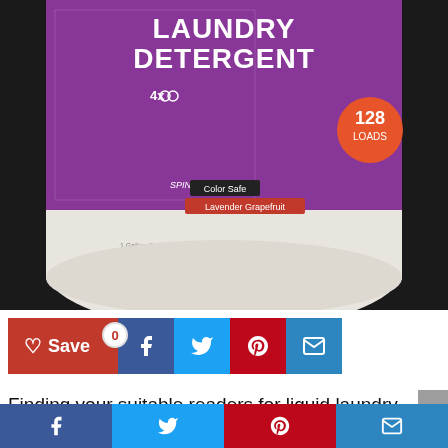[Figure (photo): Laundry detergent product bottle — a large gallon-sized container with a purple label reading 'LAUNDRY DETERGENT', '128 LOADS', 'Color Safe', 'Lavender Grapefruit', 'SPIN-CREDIBLE!', with laundry icons and product details. The bottle is off-white/cream colored. Dark background on sides.]
[Figure (infographic): Social sharing buttons row: red Save button with heart icon and '0' count badge, followed by blue Facebook, light-blue Twitter, red Pinterest, and steel-blue Email icon buttons.]
Finding your suitable readers for liquid laundry sizing is not easy. You may need consider between hundred or thousand products from many store. In this article, we
[Figure (infographic): Bottom sticky social share bar with four equal-width buttons: Facebook (dark blue), Twitter (light blue), Pinterest (red), Email (steel blue), each with white icons.]